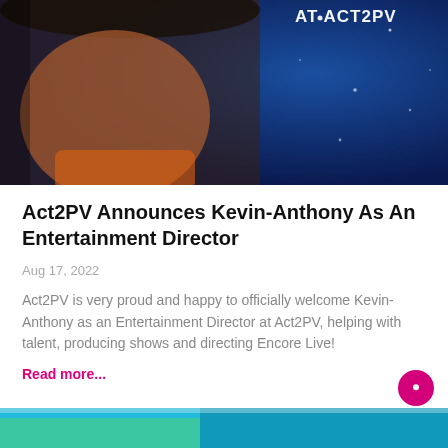[Figure (photo): Close-up photo of Kevin-Anthony, a man wearing a dark flat cap, against a blue starry background with text 'AT ACT2PV' in the upper right corner.]
Act2PV Announces Kevin-Anthony As An Entertainment Director
Aug 17, 2022
Act2PV is very proud and happy to officially welcome Kevin-Anthony as an Entertainment Director at Act2PV, helping with talent, producing shows and directing Encore Live!
Read more...
[Figure (photo): Partial bottom image showing a colorful outdoor scene, partially cropped.]